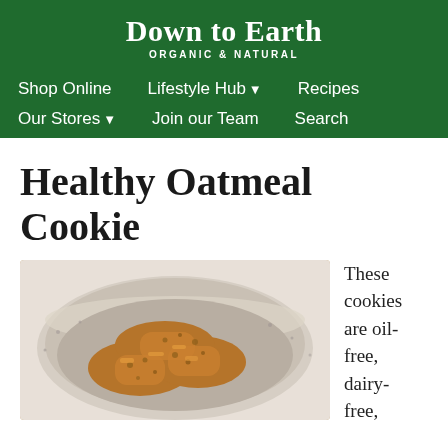Down to Earth ORGANIC & NATURAL
Shop Online   Lifestyle Hub ▾   Recipes
Our Stores ▾   Join our Team   Search
Healthy Oatmeal Cookie
[Figure (photo): A white speckled ceramic bowl filled with golden-brown oatmeal cookies on a light background.]
These cookies are oil-free, dairy-free,